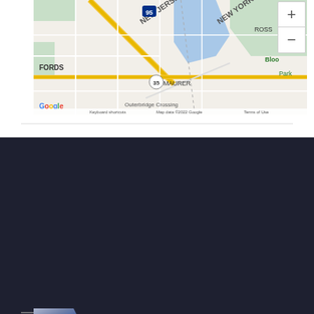[Figure (map): Google Maps view showing area around Fords, NJ / Perth Amboy area, showing Route 95, Route 35, New Jersey, New York border, Maurer, Ross, Bloomfield, Outerbridge Crossing, with zoom controls]
[Figure (logo): Pavese-McCormick Agency, Inc. logo with stylized 'P' mark and text 'Complete Insurance Services']
Our mission is to help you find the right combination of tailored, personalized insurance coverage at just the right price to fit your needs.